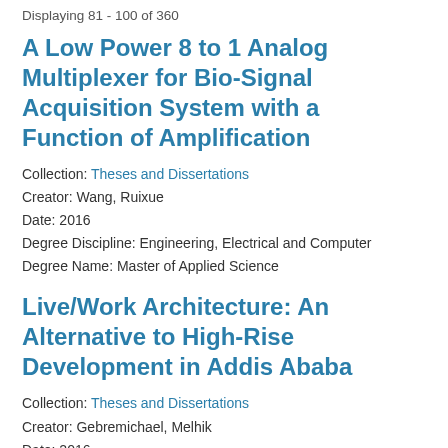Displaying 81 - 100 of 360
A Low Power 8 to 1 Analog Multiplexer for Bio-Signal Acquisition System with a Function of Amplification
Collection: Theses and Dissertations
Creator: Wang, Ruixue
Date: 2016
Degree Discipline: Engineering, Electrical and Computer
Degree Name: Master of Applied Science
Live/Work Architecture: An Alternative to High-Rise Development in Addis Ababa
Collection: Theses and Dissertations
Creator: Gebremichael, Melhik
Date: 2016
Degree Discipline: Architecture
Degree Name: Master of Architecture
A Parent Child Deve...